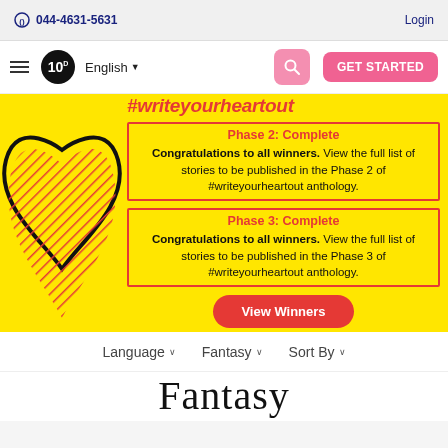044-4631-5631   Login
[Figure (screenshot): Navigation bar with hamburger menu, 10D logo, English language selector, search button, and GET STARTED button]
[Figure (infographic): Yellow banner with #writeyourheartout heading, heart illustration, Phase 2: Complete and Phase 3: Complete sections with congratulations text, View Winners button]
Language   Fantasy   Sort By
Fantasy